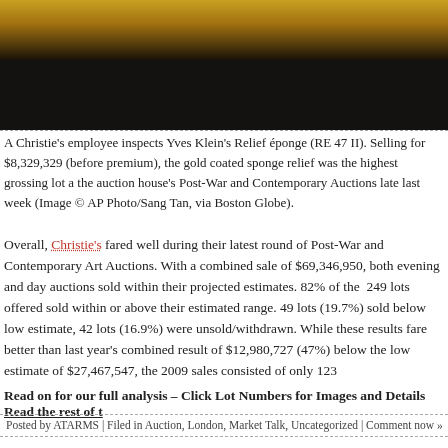[Figure (photo): Dark photograph showing a Christie's auction item — gold textured surface (Yves Klein sponge relief) against dark background]
A Christie's employee inspects Yves Klein's Relief éponge (RE 47 II). Selling for $8,329,329 (before premium), the gold coated sponge relief was the highest grossing lot a the auction house's Post-War and Contemporary Auctions late last week (Image © AP Photo/Sang Tan, via Boston Globe).
Overall, Christie's fared well during their latest round of Post-War and Contemporary Art Auctions. With a combined sale of $69,346,950, both evening and day auctions sold within their projected estimates. 82% of the 249 lots offered sold within or above their estimated range. 49 lots (19.7%) sold below low estimate, 42 lots (16.9%) were unsold/withdrawn. While these results fare better than last year's combined result of $12,980,727 (47%) below the low estimate of $27,467,547, the 2009 sales consisted of only 123
Read on for our full analysis – Click Lot Numbers for Images and Details Read the rest of t
Posted by ATARMS | Filed in Auction, London, Market Talk, Uncategorized | Comment now »